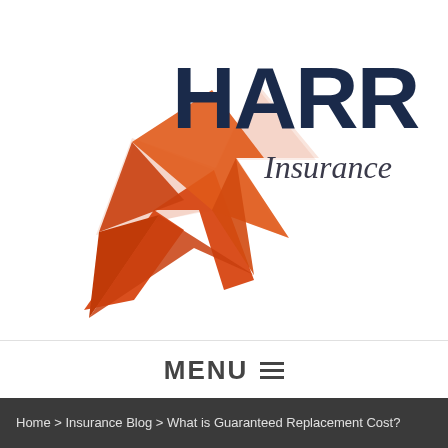[Figure (logo): Harris Insurance logo featuring bold dark blue 'HARRIS' text with the letter A replaced by an orange lightning bolt star shape, and 'Insurance' in dark gray italic below-right. An orange star/lightning bolt graphic extends to the lower left.]
MENU☰
Home > Insurance Blog > What is Guaranteed Replacement Cost?